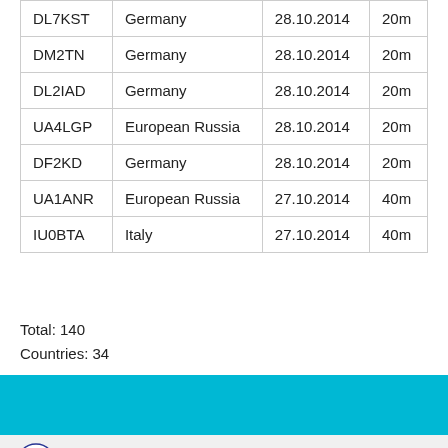| DL7KST | Germany | 28.10.2014 | 20m |
| DM2TN | Germany | 28.10.2014 | 20m |
| DL2IAD | Germany | 28.10.2014 | 20m |
| UA4LGP | European Russia | 28.10.2014 | 20m |
| DF2KD | Germany | 28.10.2014 | 20m |
| UA1ANR | European Russia | 27.10.2014 | 40m |
| IU0BTA | Italy | 27.10.2014 | 40m |
Total: 140
Countries: 34
[Figure (logo): Stagnes.eu logo with circular wave icon]
Stagnes.eu